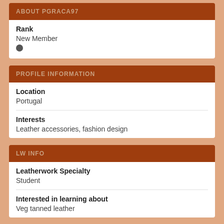ABOUT PGRACA97
Rank
New Member
PROFILE INFORMATION
Location
Portugal
Interests
Leather accessories, fashion design
LW INFO
Leatherwork Specialty
Student
Interested in learning about
Veg tanned leather